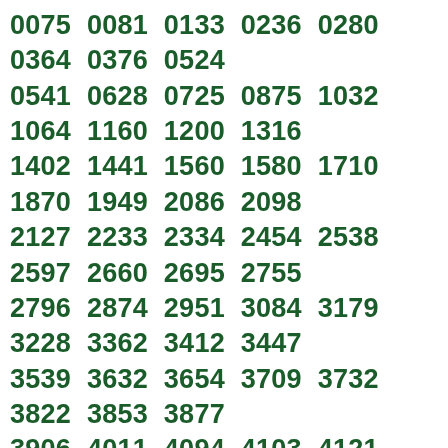0075 0081 0133 0236 0280 0364 0376 0524 0541 0628 0725 0875 1032 1064 1160 1200 1316 1402 1441 1560 1580 1710 1870 1949 2086 2098 2127 2233 2334 2454 2538 2597 2660 2695 2755 2796 2874 2951 3084 3179 3228 3362 3412 3447 3539 3632 3654 3709 3732 3822 3853 3877 3906 4011 4094 4103 4121 4130 4169 4196 4206 4280 4455 4464 4620 4676 4913 5011 5231 5280 5367 5498 5601 5985 6016 6096 6158 6178 6557 6700 6846 7009 7025 7034 7260 7383 7409 7629 7669 7693 7772 7795 7867 7893 7947 7948 7962 8000 8020 8072 8100 8283